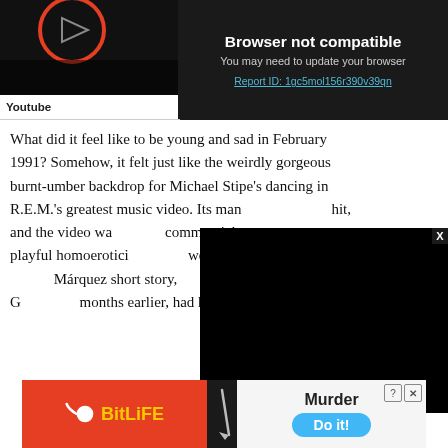[Figure (screenshot): YouTube video thumbnail — dark background with partial red circle/play button icon visible]
[Figure (screenshot): Browser not compatible error banner on dark background with text 'Browser not compatible', 'You may need to update your browser', and a report ID link]
Youtube
What did it feel like to be young and sad in February 1991? Somehow, it felt just like the weirdly gorgeous burnt-umber backdrop for Michael Stipe's dancing in R.E.M.'s greatest music video. Its man hit, and the video wa commercial success playful homoeroticism were inspired by Ca Márquez short story, known as Pierre et G months earlier, had h
[Figure (screenshot): Black video overlay popup covering right portion of article text, with X close button]
[Figure (screenshot): BitLife advertisement banner: red background with yellow BitLife logo on left, dark divider, right side shows 'Murder' text with knife icon, 'Do it!' blue button, and close/help icons]